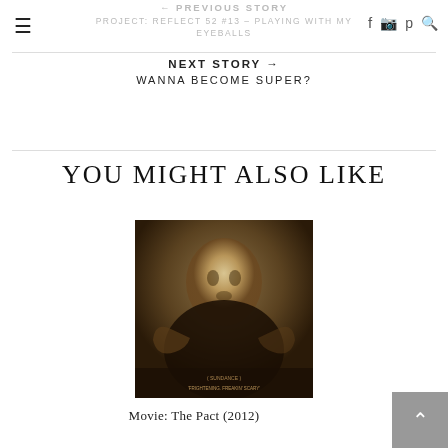← PREVIOUS STORY PROJECT: REFLECT 52 #13 – PLAYING WITH MY EYEBALLS
NEXT STORY → WANNA BECOME SUPER?
YOU MIGHT ALSO LIKE
[Figure (photo): Movie poster for The Pact (2012) — dark sepia-toned image showing a ghostly face pressed against a surface with hands spread, text reading 'FRIGHTENING, FREAKIN' SCARY' at the bottom]
Movie: The Pact (2012)